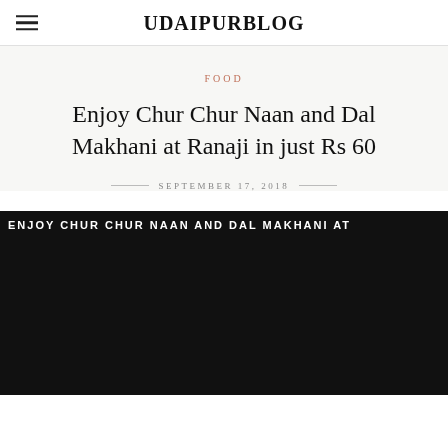UDAIPURBLOG
FOOD
Enjoy Chur Chur Naan and Dal Makhani at Ranaji in just Rs 60
SEPTEMBER 17, 2018
[Figure (photo): Article header image with bold white text on dark background reading: ENJOY CHUR CHUR NAAN AND DAL MAKHANI AT]